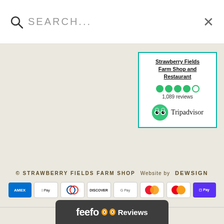Search...
[Figure (screenshot): Tripadvisor widget for Strawberry Fields Farm Shop and Restaurant showing 4.5 stars and 1,089 reviews]
© STRAWBERRY FIELDS FARM SHOP   Website by DEWSIGN
[Figure (infographic): Row of payment method icons: Amex, Apple Pay, Diners Club, Discover, Google Pay, Mastercard (two variants), and Shop Pay]
[Figure (logo): Feefo Reviews banner at bottom]